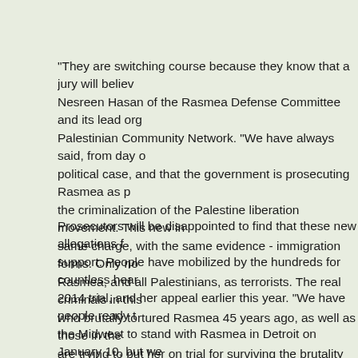"They are switching course because they know that a jury will believe Nesreen Hasan of the Rasmea Defense Committee and its lead org Palestinian Community Network. "We have always said, from day o political case, and that the government is prosecuting Rasmea as p the criminalization of the Palestine liberation movement. This new i same charge, with the same evidence - immigration forms. Only no Rasmea, and all Palestinians, as terrorists. The real criminals in thi who brutally tortured Rasmea 45 years ago, as well as those in the are trying to put her on trial for surviving the brutality committed aga
Prosecutors will be disappointed to find that these new allegations f support. People have mobilized by the hundreds for countless hear 2014 trial, and her appeal earlier this year. "We have people ready t the Midwest to stand with Rasmea in Detroit on January 10, but we adjust those plans to be there whenever we are needed," says Jess Committee to Stop FBI Repression, who lives in Minneapolis and ha Minnesotans and others in support of the defense. "We will redoubl fundraising work, and make certain Rasmea has the best defense p